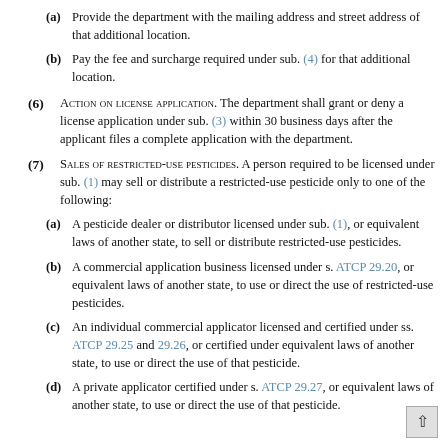(a) Provide the department with the mailing address and street address of that additional location.
(b) Pay the fee and surcharge required under sub. (4) for that additional location.
(6) ACTION ON LICENSE APPLICATION. The department shall grant or deny a license application under sub. (3) within 30 business days after the applicant files a complete application with the department.
(7) SALES OF RESTRICTED-USE PESTICIDES. A person required to be licensed under sub. (1) may sell or distribute a restricted-use pesticide only to one of the following:
(a) A pesticide dealer or distributor licensed under sub. (1), or equivalent laws of another state, to sell or distribute restricted-use pesticides.
(b) A commercial application business licensed under s. ATCP 29.20, or equivalent laws of another state, to use or direct the use of restricted-use pesticides.
(c) An individual commercial applicator licensed and certified under ss. ATCP 29.25 and 29.26, or certified under equivalent laws of another state, to use or direct the use of that pesticide.
(d) A private applicator certified under s. ATCP 29.27, or equivalent laws of another state, to use or direct the use of that pesticide.